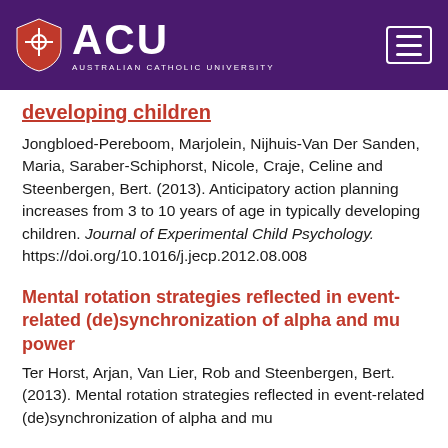ACU — Australian Catholic University
developing children
Jongbloed-Pereboom, Marjolein, Nijhuis-Van Der Sanden, Maria, Saraber-Schiphorst, Nicole, Craje, Celine and Steenbergen, Bert. (2013). Anticipatory action planning increases from 3 to 10 years of age in typically developing children. Journal of Experimental Child Psychology. https://doi.org/10.1016/j.jecp.2012.08.008
Mental rotation strategies reflected in event-related (de)synchronization of alpha and mu power
Ter Horst, Arjan, Van Lier, Rob and Steenbergen, Bert. (2013). Mental rotation strategies reflected in event-related (de)synchronization of alpha and mu